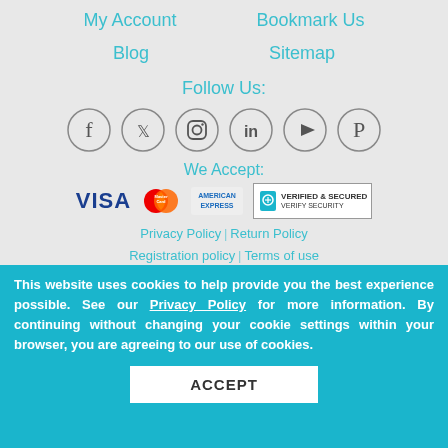My Account
Bookmark Us
Blog
Sitemap
Follow Us:
[Figure (illustration): Social media icons: Facebook, Twitter, Instagram, LinkedIn, YouTube, Pinterest — each in a circle]
We Accept:
[Figure (illustration): Payment method logos: VISA, MasterCard, American Express, Verified & Secured]
Privacy Policy | Return Policy
Registration policy | Terms of use
This website uses cookies to help provide you the best experience possible. See our Privacy Policy for more information. By continuing without changing your cookie settings within your browser, you are agreeing to our use of cookies.
ACCEPT